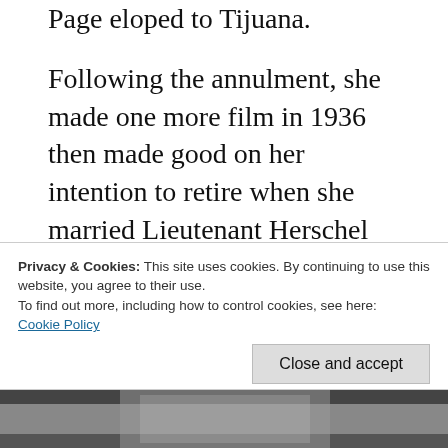Page eloped to Tijuana.
Following the annulment, she made one more film in 1936 then made good on her intention to retire when she married Lieutenant Herschel Austin House (later promoted to Admiral) of the US Navy in 1937. They had two daughters together and Anita stayed mostly out of the spotlight, aside from a few comebacks between 1961 and 2004 in lesser known horror flicks. Known as “the last star of the silents,” she outlived her contemporaries and passed away
Privacy & Cookies: This site uses cookies. By continuing to use this website, you agree to their use.
To find out more, including how to control cookies, see here: Cookie Policy
Close and accept
[Figure (photo): Black and white photograph strip visible at bottom of page]